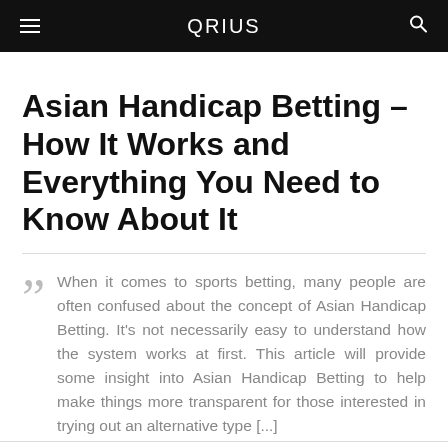QRIUS
Asian Handicap Betting – How It Works and Everything You Need to Know About It
When it comes to sports betting, many people are often confused about the concept of Asian Handicap Betting. It's not necessarily easy to understand how the system works at first. This article will provide some insight into Asian Handicap Betting to help make things more transparent for those interested in trying out an alternative type [...]